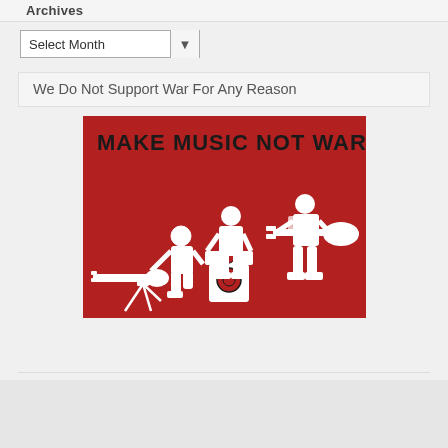Archives
Select Month
We Do Not Support War For Any Reason
[Figure (illustration): Anti-war illustration on a red background showing three soldiers in military gear. Left figure kneeling behind a tripod-mounted weapon that has been replaced with a guitar neck. Center figure standing with a DJ turntable/speaker setup. Right figure standing playing an electric guitar as if it were a weapon. Bold black text reads 'MAKE MUSIC NOT WAR'.]